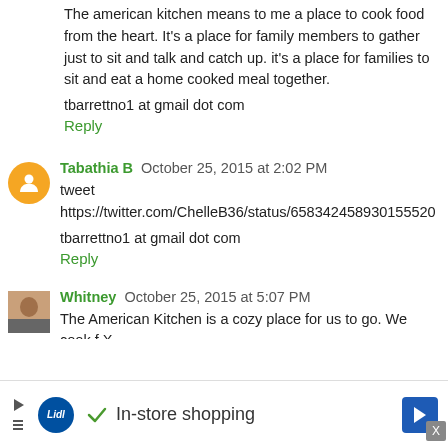The american kitchen means to me a place to cook food from the heart. It's a place for family members to gather just to sit and talk and catch up. it's a place for families to sit and eat a home cooked meal together.
tbarrettno1 at gmail dot com
Reply
Tabathia B  October 25, 2015 at 2:02 PM
tweet https://twitter.com/ChelleB36/status/658342458930155520
tbarrettno1 at gmail dot com
Reply
Whitney  October 25, 2015 at 5:07 PM
The American Kitchen is a cozy place for us to go. We cook f
[Figure (infographic): Lidl In-store shopping advertisement banner at the bottom of the page]